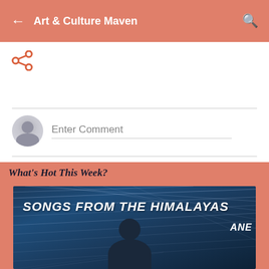Art & Culture Maven
[Figure (screenshot): Share icon (salmon/orange color)]
Enter Comment
What's Hot This Week?
[Figure (photo): Album cover: SONGS FROM THE HIMALAYAS with star trail night sky background and person silhouette, text 'ANE' visible on right]